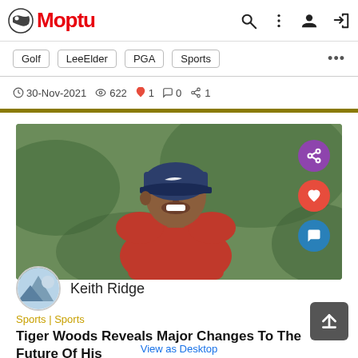Moptu
Golf  LeeElder  PGA  Sports  ...
30-Nov-2021  622  1  0  1
[Figure (photo): Tiger Woods smiling, wearing a navy Nike cap and red shirt, with a blurred green background. Purple share, red like, and blue comment action buttons overlaid on the right side.]
Keith Ridge
Sports | Sports
Tiger Woods Reveals Major Changes To The Future Of His Golf Career After Car Accident
View as Desktop